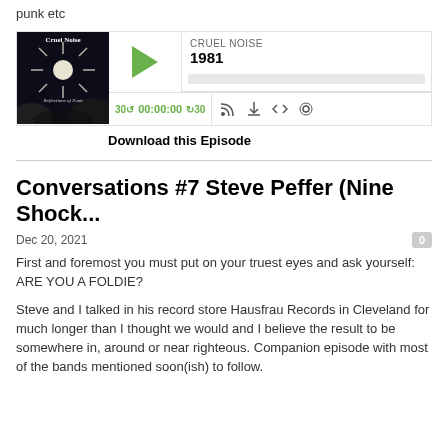punk etc
[Figure (screenshot): Podcast player widget for 'Cruel Noise 1981' with album art, play button, progress bar, and playback controls showing 30s skip back, 00:00:00 timestamp, 30s skip forward, and icons for RSS, download, embed, and settings.]
Download this Episode
Conversations #7 Steve Peffer (Nine Shock...
Dec 20, 2021
First and foremost you must put on your truest eyes and ask yourself:
ARE YOU A FOLDIE?
Steve and I talked in his record store Hausfrau Records in Cleveland for much longer than I thought we would and I believe the result to be somewhere in, around or near righteous. Companion episode with most of the bands mentioned soon(ish) to follow.